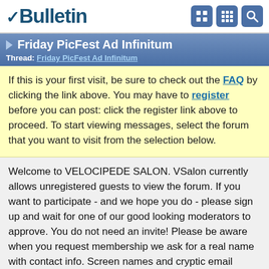vBulletin
Friday PicFest Ad Infinitum
Thread: Friday PicFest Ad Infinitum
If this is your first visit, be sure to check out the FAQ by clicking the link above. You may have to register before you can post: click the register link above to proceed. To start viewing messages, select the forum that you want to visit from the selection below.
Welcome to VELOCIPEDE SALON. VSalon currently allows unregistered guests to view the forum. If you want to participate - and we hope you do - please sign up and wait for one of our good looking moderators to approve. You do not need an invite! Please be aware when you request membership we ask for a real name with contact info. Screen names and cryptic email addresses are okay, but no one is accepted in the community without real life/real world credentials. A moderator will contact you